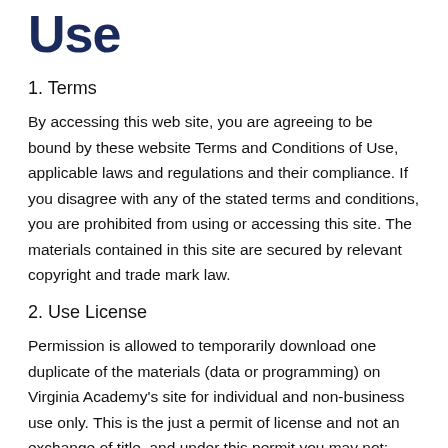Use
1. Terms
By accessing this web site, you are agreeing to be bound by these website Terms and Conditions of Use, applicable laws and regulations and their compliance. If you disagree with any of the stated terms and conditions, you are prohibited from using or accessing this site. The materials contained in this site are secured by relevant copyright and trade mark law.
2. Use License
Permission is allowed to temporarily download one duplicate of the materials (data or programming) on Virginia Academy's site for individual and non-business use only. This is the just a permit of license and not an exchange of title, and under this permit you may not: modify or copy the materials; use the materials for any